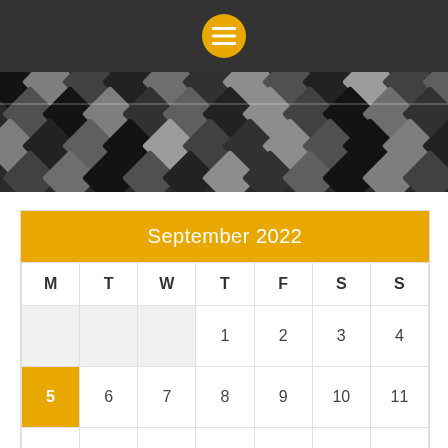[Figure (other): Dark top navigation bar with orange circular menu icon containing three horizontal lines (hamburger menu)]
[Figure (other): Decorative diamond/argyle pattern banner in dark grey tones]
| M | T | W | T | F | S | S |
| --- | --- | --- | --- | --- | --- | --- |
|  |  |  | 1 | 2 | 3 | 4 |
| 5 | 6 | 7 | 8 | 9 | 10 | 11 |
| 12 | 13 | 14 | 15 | 16 | 17 | 18 |
| 19 | 20 | 21 | 22 | 23 | 24 | 25 |
| 26 | 27 | 28 | 29 | 30 |  |  |
« Aug